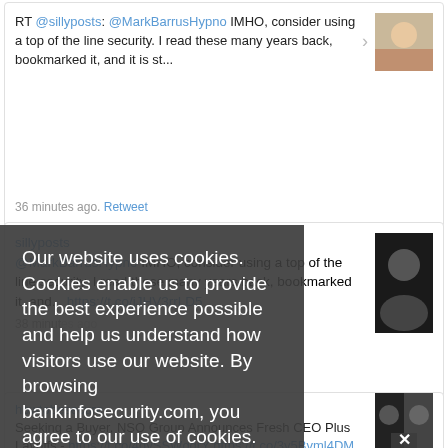RT @sillyposts: @MarkBarrusHypno IMHO, consider using a top of the line security. I read these many years back, bookmarked it, and it is st...
36 minutes ago. Retweet
[Figure (photo): Profile photo of a smiling older man]
sillyposts @MarkBarrusHypno IMHO, consider using a top of the line security. I read these many years back, bookmarked it, and... https://t.co/jJHV3rrLD5
38 minutes
[Figure (photo): Dark profile photo of a person]
Our website uses cookies. Cookies enable us to provide the best experience possible and help us understand how visitors use our website. By browsing bankinfosecurity.com, you agree to our use of cookies.
howtobesecure Seeking a Buyer, NSO Group Announces Fresh CEO Plus Layoffs - https://t.co/4dySSWqqrY https://t.co/3y5Bvml4DM
about 1 h
lindakow... In a video interview with @BnkInfoSecurity, @therobertjboyce discusses how cybercriminals are
[Figure (photo): Two people side by side, dark background, with a close/X button overlay]